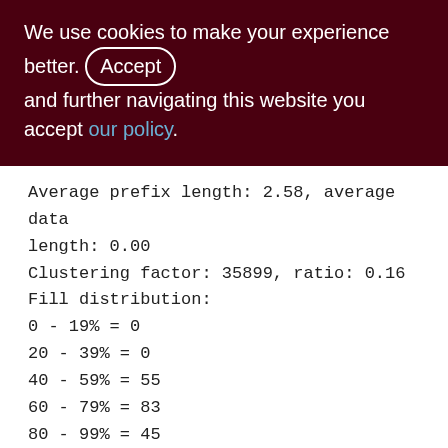We use cookies to make your experience better. By accepting and further navigating this website you accept our policy.
Average prefix length: 2.58, average data length: 0.00
Clustering factor: 35899, ratio: 0.16
Fill distribution:
0 - 19% = 0
20 - 39% = 0
40 - 59% = 55
60 - 79% = 83
80 - 99% = 45

PERF_ISQL_STAT (161)
Primary pointer page: 347, Index root page: